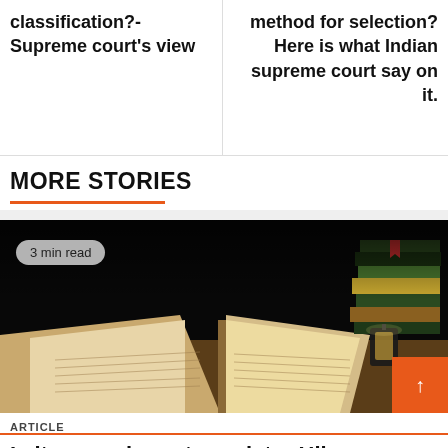classification?- Supreme court's view
method for selection? Here is what Indian supreme court say on it.
MORE STORIES
[Figure (photo): Open book in foreground with stacked books and a lantern in the background against a dark backdrop. Badge reads '3 min read'.]
ARTICLE
Is it compulsory to register Hibanama (gift